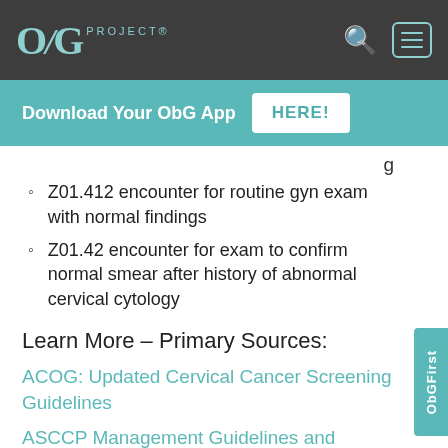OBG PROJECT®
Download Your ObG App  HERE!
g
Z01.412 encounter for routine gyn exam with normal findings
Z01.42 encounter for exam to confirm normal smear after history of abnormal cervical cytology
Learn More – Primary Sources:
ACOG: Updated Cervical Cancer Screening Guidelines
ASCCP Management Guidelines and Algorithms